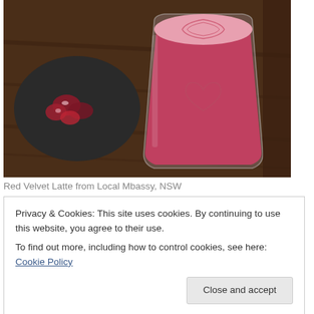[Figure (photo): A pink/red velvet latte in a clear glass on a wooden table, with a dark plate holding pomegranate seeds in the background. The drink has a swirled foam top and a heart-shaped design embossed on the glass.]
Red Velvet Latte from Local Mbassy, NSW
Privacy & Cookies: This site uses cookies. By continuing to use this website, you agree to their use.
To find out more, including how to control cookies, see here: Cookie Policy
Close and accept